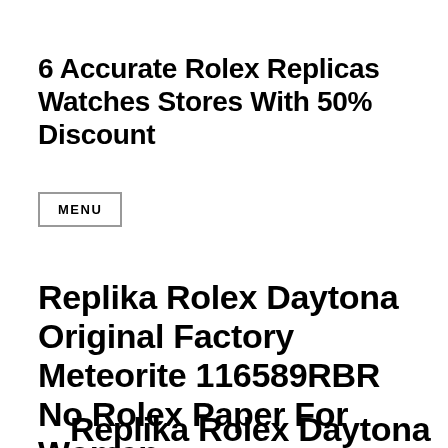6 Accurate Rolex Replicas Watches Stores With 50% Discount
MENU
Replika Rolex Daytona Original Factory Meteorite 116589RBR No Rolex Paper For Women
Replika Rolex Daytona